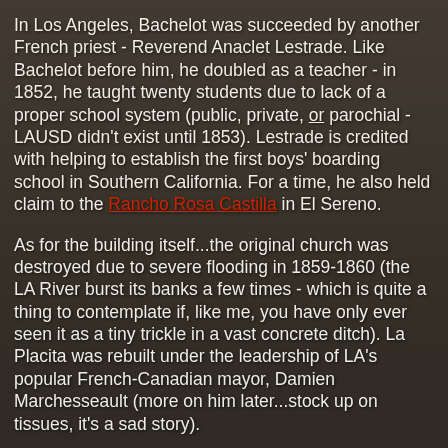[Figure (photo): Sepia/dark historical photograph of Los Angeles, showing a panoramic view of early LA settlement with buildings and landscape, used as background image behind text.]
In Los Angeles, Bachelot was succeeded by another French priest - Reverend Anaclet Lestrade. Like Bachelot before him, he doubled as a teacher - in 1852, he taught twenty students due to lack of a proper school system (public, private, or parochial - LAUSD didn't exist until 1853). Lestrade is credited with helping to establish the first boys' boarding school in Southern California. For a time, he also held claim to the Rancho Rosa Castilla in El Sereno.
As for the building itself...the original church was destroyed due to severe flooding in 1859-1860 (the LA River burst its banks a few times - which is quite a thing to contemplate if, like me, you have only ever seen it as a tiny trickle in a vast concrete ditch). La Placita was rebuilt under the leadership of LA's popular French-Canadian mayor, Damien Marchesseault (more on him later...stock up on tissues, it's a sad story).
Henri Penelon, LA's first commercial artist and photographer, painted a mural of the Madonna and Child with two angels over the door in 1861, assisted by a new arrival, 21-year-old Bernard Etcheverry (both hailed from France, and don't